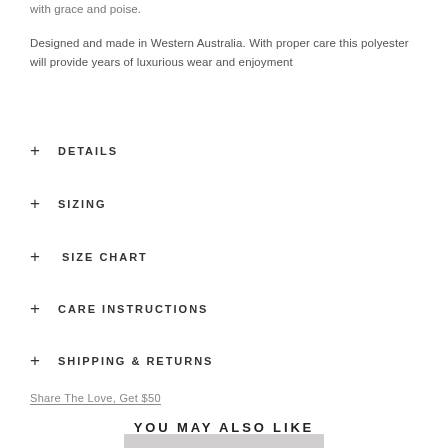with grace and poise.
Designed and made in Western Australia. With proper care this polyester will provide years of luxurious wear and enjoyment
+ DETAILS
+ SIZING
+ SIZE CHART
+ CARE INSTRUCTIONS
+ SHIPPING & RETURNS
Share The Love, Get $50
YOU MAY ALSO LIKE
[Figure (photo): Bottom partial image strip of product photo]